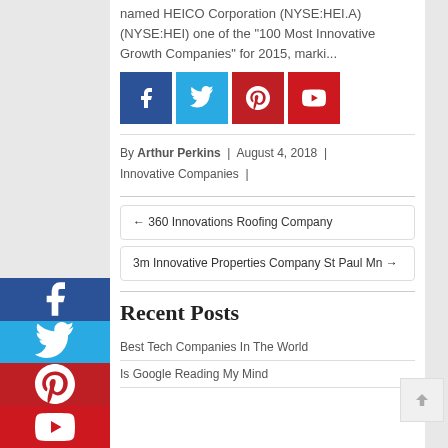named HEICO Corporation (NYSE:HEI.A) (NYSE:HEI) one of the "100 Most Innovative Growth Companies" for 2015, marki...
[Figure (infographic): Four social share buttons in a row: Facebook (dark blue), Twitter (light blue), Pinterest (red), YouTube (red with logo)]
By Arthur Perkins | August 4, 2018 | Innovative Companies |
← 360 Innovations Roofing Company
3m Innovative Properties Company St Paul Mn →
Recent Posts
Best Tech Companies In The World
Is Google Reading My Mind